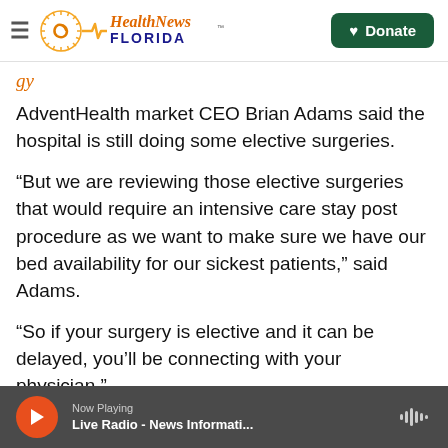Health News Florida — navigation header with Donate button
[partial italic orange title, clipped]
AdventHealth market CEO Brian Adams said the hospital is still doing some elective surgeries.
“But we are reviewing those elective surgeries that would require an intensive care stay post procedure as we want to make sure we have our bed availability for our sickest patients,” said Adams.
“So if your surgery is elective and it can be delayed, you’ll be connecting with your physician.”
Now Playing — Live Radio - News Informati...